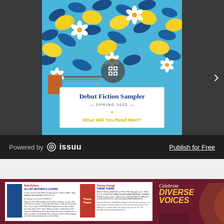[Figure (illustration): Issuu embedded document viewer showing a 'Debut Fiction Sampler – Spring 2022 – What Will You Read Next?' book cover with lemon and flower illustration on blue background. Navigation arrow on right. Issuu branding bar at bottom with 'Powered by issuu' and 'Publish for Free' link.]
Powered by  issuu
Publish for Free
[Figure (screenshot): Partial view of a library or bookstore promotional page on dark maroon background showing book listings and 'Celebrate DIVERSE VOICES' text on the right side.]